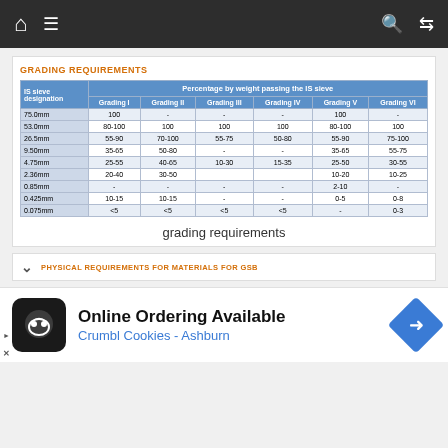Navigation bar with home, menu, search, and shuffle icons
GRADING REQUIREMENTS
| IS sieve designation | Grading I | Grading II | Grading III | Grading IV | Grading V | Grading VI |
| --- | --- | --- | --- | --- | --- | --- |
| 75.0mm | 100 | - | - | - | 100 | - |
| 53.0mm | 80-100 | 100 | 100 | 100 | 80-100 | 100 |
| 26.5mm | 55-90 | 70-100 | 55-75 | 50-80 | 55-90 | 75-100 |
| 9.50mm | 35-65 | 50-80 | - | - | 35-65 | 55-75 |
| 4.75mm | 25-55 | 40-65 | 10-30 | 15-35 | 25-50 | 30-55 |
| 2.36mm | 20-40 | 30-50 |  |  | 10-20 | 10-25 |
| 0.85mm | - | - | - | - | 2-10 | - |
| 0.425mm | 10-15 | 10-15 | - | - | 0-5 | 0-8 |
| 0.075mm | <5 | <5 | <5 | <5 | - | 0-3 |
grading requirements
PHYSICAL REQUIREMENTS FOR MATERIALS FOR GSB